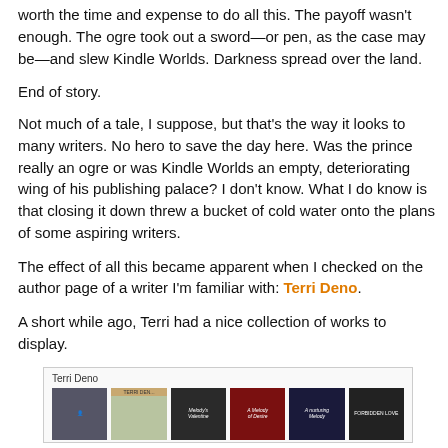worth the time and expense to do all this. The payoff wasn't enough. The ogre took out a sword—or pen, as the case may be—and slew Kindle Worlds. Darkness spread over the land.
End of story.
Not much of a tale, I suppose, but that's the way it looks to many writers. No hero to save the day here. Was the prince really an ogre or was Kindle Worlds an empty, deteriorating wing of his publishing palace? I don't know. What I do know is that closing it down threw a bucket of cold water onto the plans of some aspiring writers.
The effect of all this became apparent when I checked on the author page of a writer I'm familiar with: Terri Deno.
A short while ago, Terri had a nice collection of works to display.
[Figure (screenshot): Screenshot of Terri Deno's Amazon author page showing her profile photo and several book cover thumbnails]